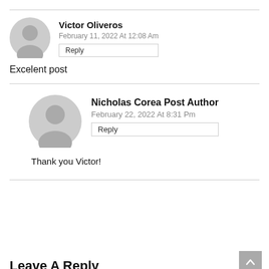[Figure (illustration): Gray avatar icon of Victor Oliveros]
Victor Oliveros
February 11, 2022 At 12:08 Am
Reply
Excelent post
[Figure (illustration): Gray avatar icon of Nicholas Corea]
Nicholas Corea Post Author
February 22, 2022 At 8:31 Pm
Reply
Thank you Victor!
Leave A Reply